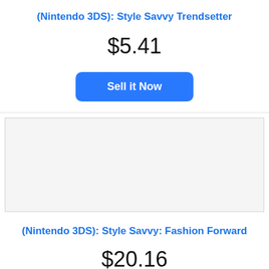(Nintendo 3DS): Style Savvy Trendsetter
$5.41
[Figure (other): Blue 'Sell it Now' button]
[Figure (other): Empty gray image placeholder box]
(Nintendo 3DS): Style Savvy: Fashion Forward
$20.16